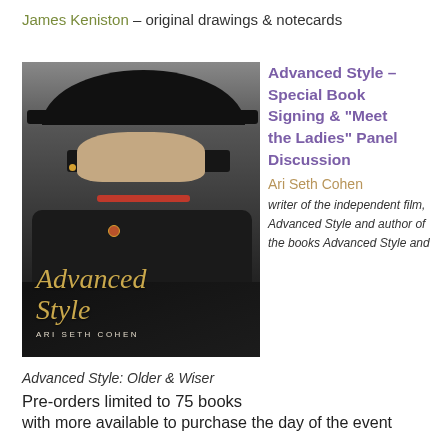James Keniston – original drawings & notecards
[Figure (photo): Book cover of 'Advanced Style' by Ari Seth Cohen. A stylish older woman wearing a large black wide-brim hat, oversized black glasses, and black clothing with a decorative brooch. The title 'Advanced Style' appears in gold script with 'ARI SETH COHEN' in small capitals at the bottom.]
Advanced Style – Special Book Signing & “Meet the Ladies” Panel Discussion
Ari Seth Cohen
writer of the independent film, Advanced Style and author of the books Advanced Style and
Advanced Style: Older & Wiser
Pre-orders limited to 75 books
with more available to purchase the day of the event